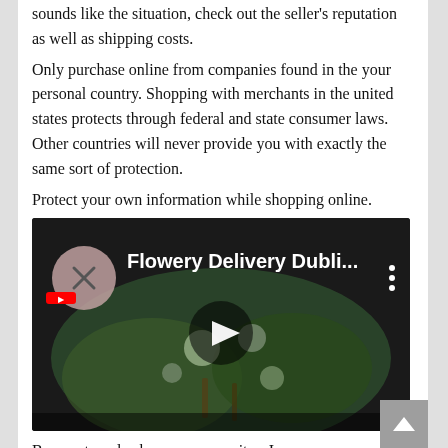sounds like the situation, check out the seller's reputation as well as shipping costs.
Only purchase online from companies found in the your personal country. Shopping with merchants in the united states protects through federal and state consumer laws. Other countries will never provide you with exactly the same sort of protection.
Protect your own information while shopping online.
[Figure (screenshot): YouTube video thumbnail for 'Flowery Delivery Dubli...' showing a floral arrangement with a play button overlay and a YouTube logo/channel icon on the left.]
Be sure to only shop on secure sites. In case you are not sure whether or not a site is secure, choose a little padlock icon. It are frequently in the upper right corner of your respective browser's address bar.
You now have a better idea of what online shopping is